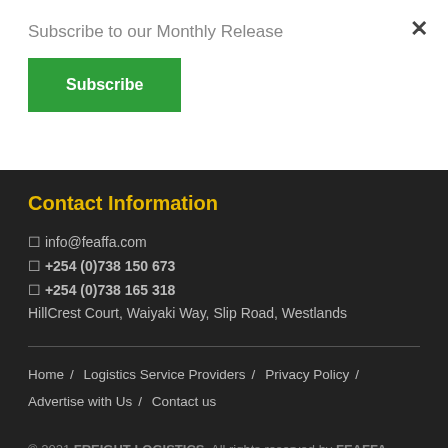Subscribe to our Monthly Release
Subscribe
Contact Information
info@feaffa.com
+254 (0)738 150 673
+254 (0)738 165 318
HillCrest Court, Waiyaki Way, Slip Road, Westlands
Home / Logistics Service Providers / Privacy Policy / Advertise with Us / Contact us
© 2021 FREIGHT LOGISTICS. All rights reserved by FEAFFA.